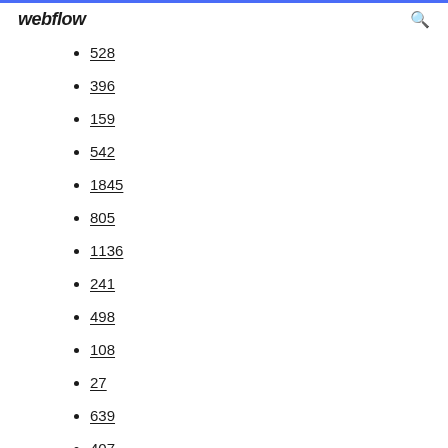webflow
528
396
159
542
1845
805
1136
241
498
108
27
639
407